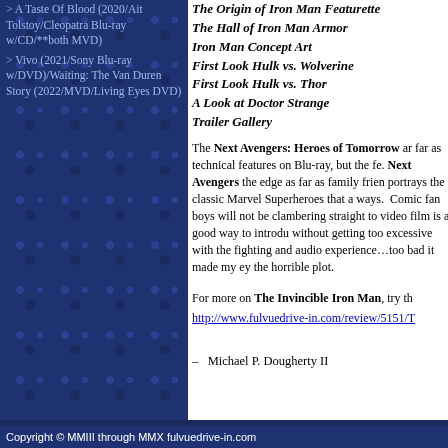> A Taste Of Blood (2020/Ait Tolstoy/Cleopatra Blu-ray w/CD/**both MVD)
>  Vivo (2021/Sony Blu-ray w/DVD)/Waiting: The Van Duren Story (2022/MVD/Living Eyes DVD)
The Origin of Iron Man Featurette
The Hall of Iron Man Armor
Iron Man Concept Art
First Look Hulk vs. Wolverine
First Look Hulk vs. Thor
A Look at Doctor Strange
Trailer Gallery
The Next Avengers: Heroes of Tomorrow are far as technical features on Blu-ray, but the fe. Next Avengers the edge as far as family frien portrays the classic Marvel Superheroes that a ways.  Comic fan boys will not be clambering straight to video film is a good way to introdu without getting too excessive with the fighting and audio experience…too bad it made my ey the horrible plot.
For more on The Invincible Iron Man, try th
http://www.fulvuedrive-in.com/review/5151/T
–   Michael P. Dougherty II
Copyright © MMIII through MMX fulvuedrive-in.com